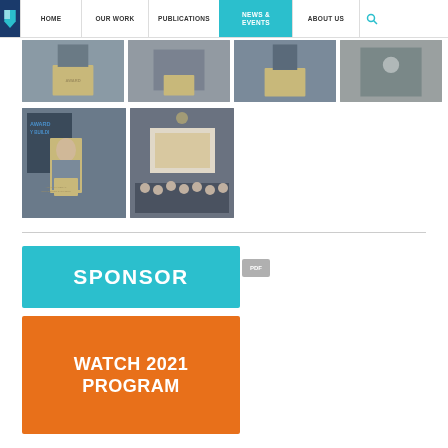HOME | OUR WORK | PUBLICATIONS | NEWS & EVENTS | ABOUT US
[Figure (photo): Four event photos in a row showing conference speakers at podiums and attendees]
[Figure (photo): Two larger event photos showing a speaker at podium with AWARD COMMUNITY BUILDING text visible and an audience at a conference]
[Figure (infographic): Teal/cyan banner button reading SPONSOR with PDF badge]
[Figure (infographic): Orange banner button reading WATCH 2021 PROGRAM]